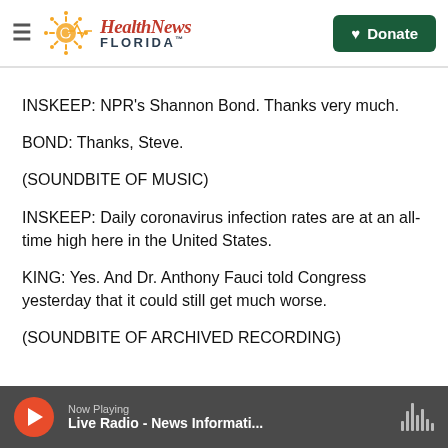Health News Florida — Donate
INSKEEP: NPR's Shannon Bond. Thanks very much.
BOND: Thanks, Steve.
(SOUNDBITE OF MUSIC)
INSKEEP: Daily coronavirus infection rates are at an all-time high here in the United States.
KING: Yes. And Dr. Anthony Fauci told Congress yesterday that it could still get much worse.
(SOUNDBITE OF ARCHIVED RECORDING)
Now Playing — Live Radio - News Informati...